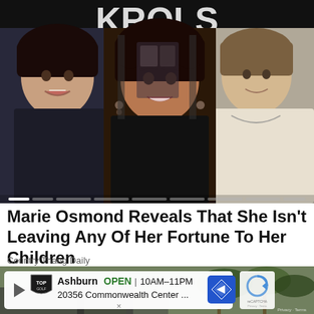[Figure (photo): Photo of three women posing together indoors in front of a dark background with partial signage visible. A woman with dark hair in black clothing on the left, a woman with dark layered hair in black in the center (Marie Osmond), and a woman with lighter hair in white/cream jacket on the right.]
Marie Osmond Reveals That She Isn't Leaving Any Of Her Fortune To Her Children
Country Thang Daily
[Figure (screenshot): Advertisement banner for Topgolf Ashburn location showing logo, OPEN status, hours 10AM-11PM, address 20356 Commonwealth Center..., navigation icon, and reCAPTCHA logo, overlaid on a background photo of a building with trees.]